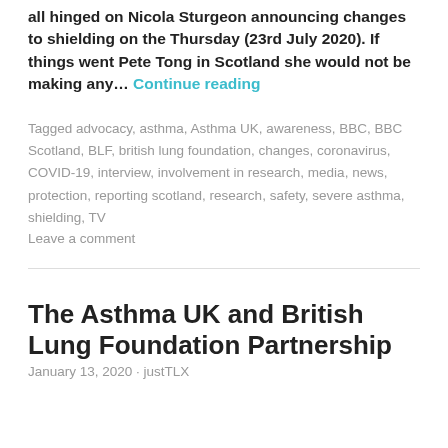all hinged on Nicola Sturgeon announcing changes to shielding on the Thursday (23rd July 2020). If things went Pete Tong in Scotland she would not be making any… Continue reading
Tagged advocacy, asthma, Asthma UK, awareness, BBC, BBC Scotland, BLF, british lung foundation, changes, coronavirus, COVID-19, interview, involvement in research, media, news, protection, reporting scotland, research, safety, severe asthma, shielding, TV
Leave a comment
The Asthma UK and British Lung Foundation Partnership
January 13, 2020 · justTLX